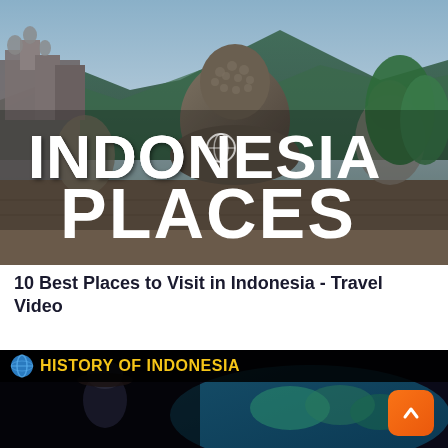[Figure (photo): Thumbnail image showing Borobudur temple statues with mountains in background and white text overlay reading INDONESIA PLACES]
10 Best Places to Visit in Indonesia - Travel Video
[Figure (screenshot): Thumbnail for History of Indonesia video — dark background with gold bold text HISTORY OF INDONESIA, globe emoji, teal world map, and figure in foreground]